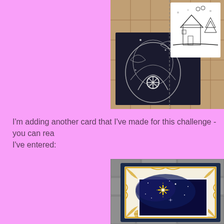[Figure (photo): A close-up photo of handmade cards: a dark/black card with silver floral embossed design and a white card with a black line-art winter house scene, placed on a wooden/mosaic surface.]
I'm adding another card that I've made for this challenge - you can rea... I've entered:
[Figure (photo): A close-up photo of a handmade card with a dark navy blue cardstock base, gold embossed floral border on white/cream layer, and a night sky scene featuring a bright star (Star of Bethlehem), placed on a stone/brick surface.]